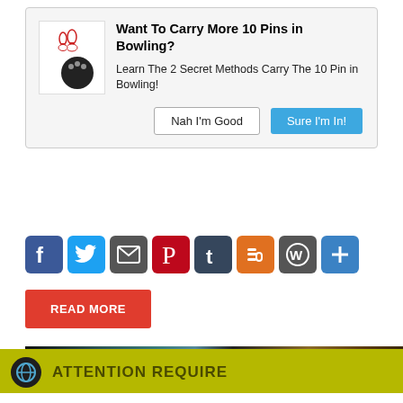[Figure (illustration): Popup notification with bowling ball and pins icon, title 'Want To Carry More 10 Pins in Bowling?', body text, and two buttons: 'Nah I'm Good' and 'Sure I'm In!']
[Figure (illustration): Social media share icons row: Facebook, Twitter, Mail, Pinterest, Tumblr, Blogger, WordPress, Plus]
READ MORE
[Figure (photo): Dark photographic image strip showing bowling-related imagery]
[Figure (infographic): Cookie consent banner with globe icon, 'ATTENTION REQUIRED' header, cookie notice text, Accept and Privacy Center buttons]